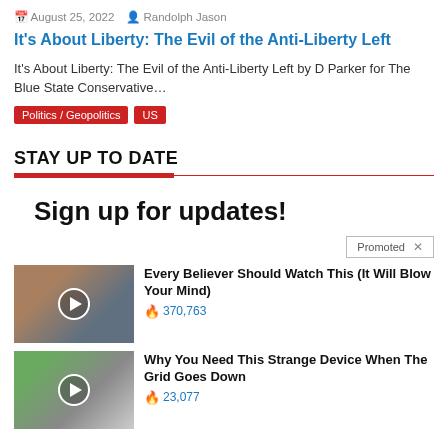August 25, 2022   Randolph Jason
It's About Liberty: The Evil of the Anti-Liberty Left
It's About Liberty: The Evil of the Anti-Liberty Left by D Parker for The Blue State Conservative…
Politics / Geopolitics
US
STAY UP TO DATE
Sign up for updates!
Promoted ×
Every Believer Should Watch This (It Will Blow Your Mind)
🔥 370,763
Why You Need This Strange Device When The Grid Goes Down
🔥 23,077